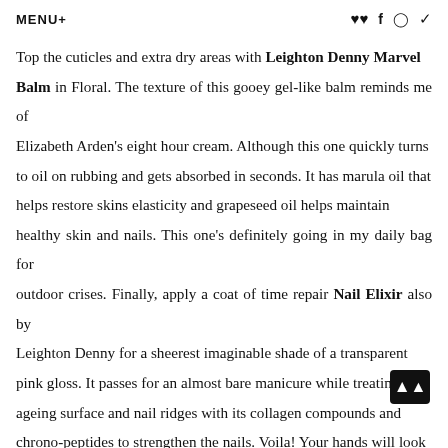MENU+
Top the cuticles and extra dry areas with Leighton Denny Marvel Balm in Floral. The texture of this gooey gel-like balm reminds me of Elizabeth Arden's eight hour cream. Although this one quickly turns to oil on rubbing and gets absorbed in seconds. It has marula oil that helps restore skins elasticity and grapeseed oil helps maintain healthy skin and nails. This one's definitely going in my daily bag for outdoor crises. Finally, apply a coat of time repair Nail Elixir also by Leighton Denny for a sheerest imaginable shade of a transparent pink gloss. It passes for an almost bare manicure while treating the ageing surface and nail ridges with its collagen compounds and chrono-peptides to strengthen the nails. Voila! Your hands will look and feel spring ready in less than 30 mins from the comfort of your